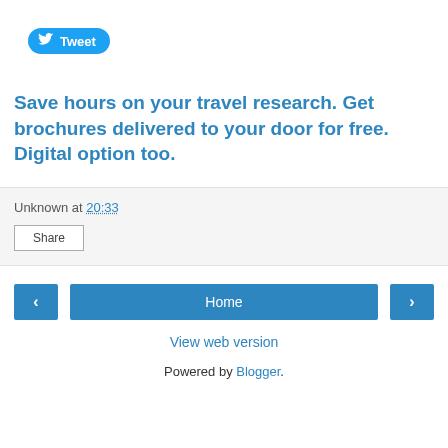[Figure (other): Twitter Tweet button with bird logo]
Save hours on your travel research. Get brochures delivered to your door for free. Digital option too.
Unknown at 20:33
Share
[Figure (other): Navigation row with left arrow, Home button, and right arrow]
View web version
Powered by Blogger.